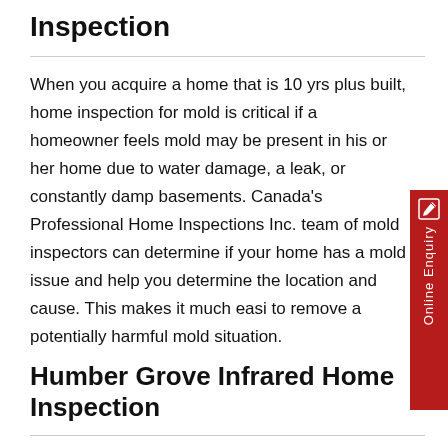Inspection
When you acquire a home that is 10 yrs plus built, home inspection for mold is critical if a homeowner feels mold may be present in his or her home due to water damage, a leak, or constantly damp basements. Canada's Professional Home Inspections Inc. team of mold inspectors can determine if your home has a mold issue and help you determine the location and cause. This makes it much easi to remove a potentially harmful mold situation.
Humber Grove Infrared Home Inspection
When in need of Infrared home inspection, Canada's Professional Home Inspections Inc. provides infrared home inspections for customers who want a closer look at the health of their property or the property they may want to purchase. Infrared (thermal imaging) is an advanced, non-